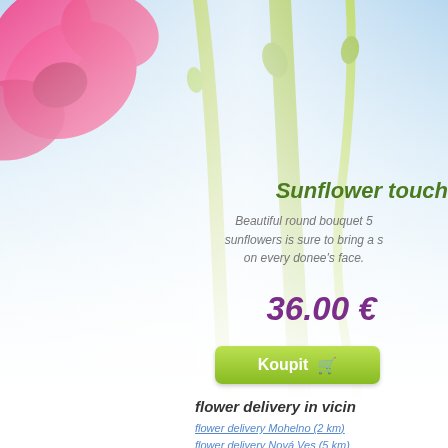[Figure (photo): Close-up photo of pink flowers with green stems against a light blue sky background, fading to white at the bottom]
Sunflower touch
Beautiful round bouquet 5 sunflowers is sure to bring a s on every donee's face.
36.00 €
Koupit
flower delivery in vicin
flower delivery Mohelno (2 km)
flower delivery Nová Ves (5 km)
flower delivery Nová Ves (5 km)
flower delivery Moravský Krumlо